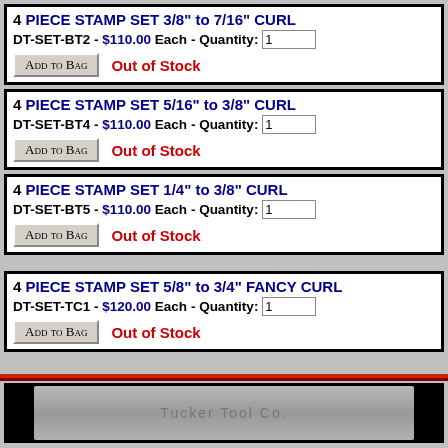4 PIECE STAMP SET 3/8" to 7/16" CURL
DT-SET-BT2 - $110.00 Each - Quantity: 1
ADD TO BAG  Out of Stock
4 PIECE STAMP SET 5/16" to 3/8" CURL
DT-SET-BT4 - $110.00 Each - Quantity: 1
ADD TO BAG  Out of Stock
4 PIECE STAMP SET 1/4" to 3/8" CURL
DT-SET-BT5 - $110.00 Each - Quantity: 1
ADD TO BAG  Out of Stock
4 PIECE STAMP SET 5/8" to 3/4" FANCY CURL
DT-SET-TC1 - $120.00 Each - Quantity: 1
ADD TO BAG  Out of Stock
[Figure (photo): Tucker Tool Co. metal stamp or tool component, gray metallic surface with company name label]